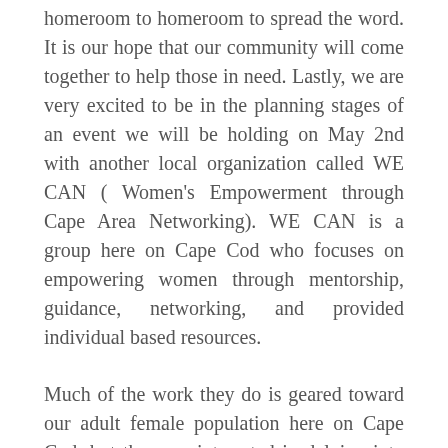homeroom to homeroom to spread the word. It is our hope that our community will come together to help those in need. Lastly, we are very excited to be in the planning stages of an event we will be holding on May 2nd with another local organization called WE CAN ( Women's Empowerment through Cape Area Networking). WE CAN is a group here on Cape Cod who focuses on empowering women through mentorship, guidance, networking, and provided individual based resources.
Much of the work they do is geared toward our adult female population here on Cape Cod, but they are interested in delving into the possibility of offering similar services to younger females and teens as well. We will be holding a collaborative event in the new innovative Barnstable High School